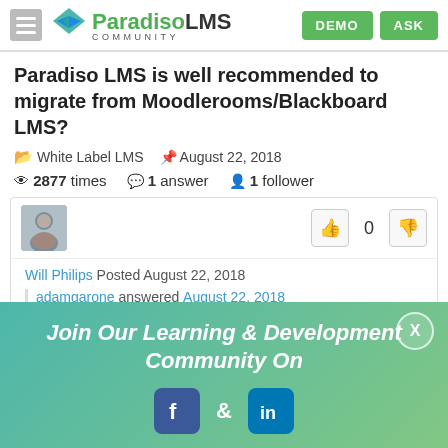Paradiso LMS Community — DEMO | ASK
Paradiso LMS is well recommended to migrate from Moodlerooms/Blackboard LMS?
White Label LMS   August 22, 2018
2877 times   1 answer   1 follower
Will Philips  Posted August 22, 2018
adamgarone answered August 22, 2018
We know that Paradiso has excellent features, and it
[Figure (infographic): Promotional overlay banner with gradient teal-to-green background. Text: 'Join Our Learning & Development Community On' with Facebook and LinkedIn social media icons. Close (X) button in top right corner.]